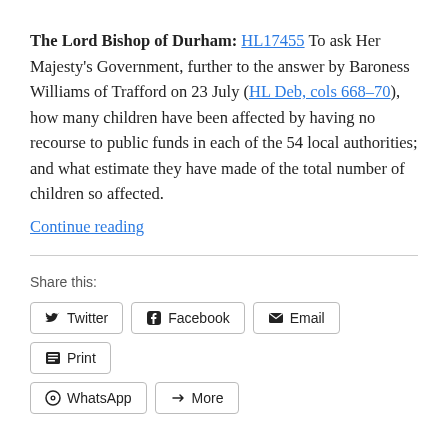The Lord Bishop of Durham: HL17455 To ask Her Majesty's Government, further to the answer by Baroness Williams of Trafford on 23 July (HL Deb, cols 668–70), how many children have been affected by having no recourse to public funds in each of the 54 local authorities; and what estimate they have made of the total number of children so affected.
Continue reading
Share this: